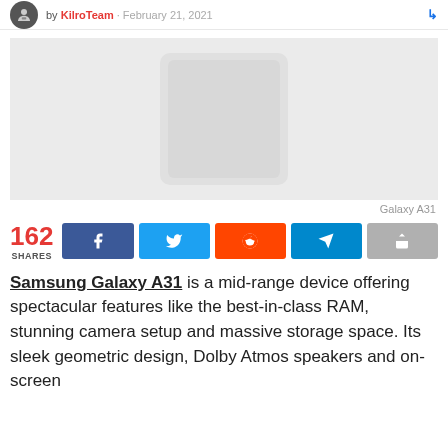by KilroTeam · February 21, 2021
[Figure (photo): Light gray placeholder image of Samsung Galaxy A31]
Galaxy A31
162 SHARES
Samsung Galaxy A31 is a mid-range device offering spectacular features like the best-in-class RAM, stunning camera setup and massive storage space. Its sleek geometric design, Dolby Atmos speakers and on-screen optical fingerprint sensor make it a well-rounded device for